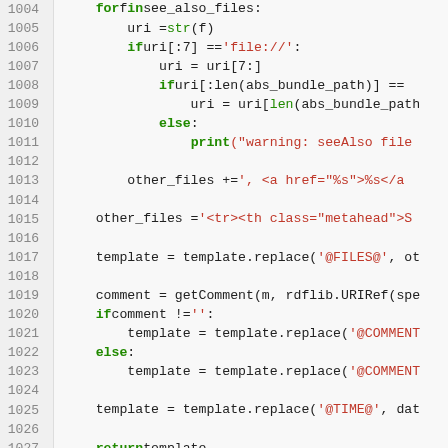[Figure (screenshot): Python source code snippet showing lines 1004-1033 with line numbers on the left. Code features syntax highlighting: keywords in bold green, strings in red, built-in functions in green, and normal code in dark color.]